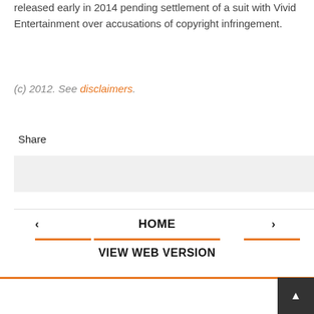released early in 2014 pending settlement of a suit with Vivid Entertainment over accusations of copyright infringement.
(c) 2012. See disclaimers.
Share
‹   HOME   ›
VIEW WEB VERSION